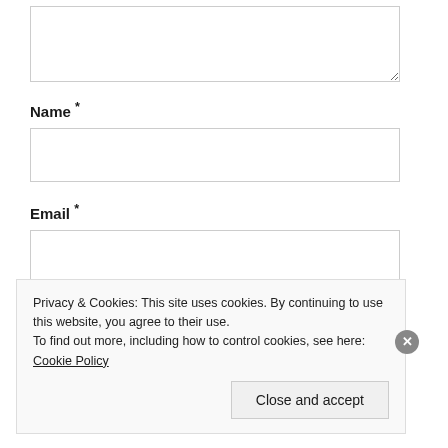[textarea box]
Name *
[name input box]
Email *
[email input box]
Privacy & Cookies: This site uses cookies. By continuing to use this website, you agree to their use.
To find out more, including how to control cookies, see here: Cookie Policy
Close and accept